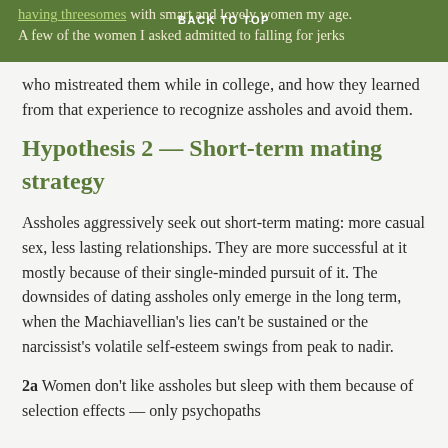having threesomes with smart and lovely women my age. A few of the women I asked admitted to falling for jerks
BACK TO TOP
who mistreated them while in college, and how they learned from that experience to recognize assholes and avoid them.
Hypothesis 2 — Short-term mating strategy
Assholes aggressively seek out short-term mating: more casual sex, less lasting relationships. They are more successful at it mostly because of their single-minded pursuit of it. The downsides of dating assholes only emerge in the long term, when the Machiavellian's lies can't be sustained or the narcissist's volatile self-esteem swings from peak to nadir.
2a Women don't like assholes but sleep with them because of selection effects — only psychopaths